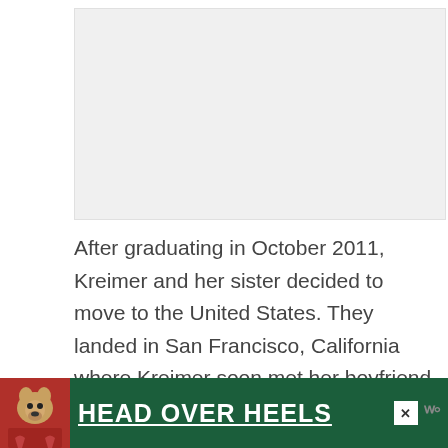[Figure (photo): Placeholder image area, light gray background]
After graduating in October 2011, Kreimer and her sister decided to move to the United States. They landed in San Francisco, California where Kreimer soon met her boyfriend, Jamal Gayle.
[Figure (photo): Advertisement banner: HEAD OVER HEELS with dog photo on green background]